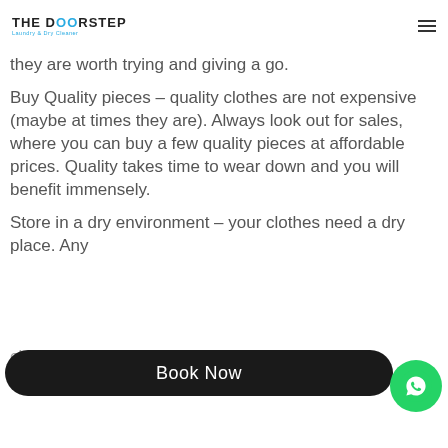The Doorstep Laundry & Dry Cleaner
they are worth trying and giving a go.
Buy Quality pieces – quality clothes are not expensive (maybe at times they are). Always look out for sales, where you can buy a few quality pieces at affordable prices. Quality takes time to wear down and you will benefit immensely.
Store in a dry environment – your clothes need a dry place. Any clothes and weaker fabric. Always ensure your cupboards are dry.